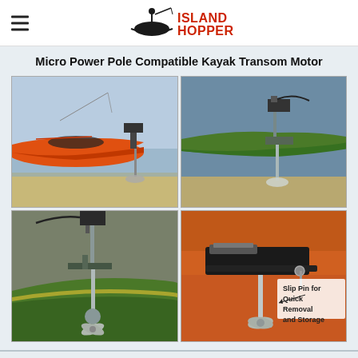Island Hopper (logo with hamburger menu)
Micro Power Pole Compatible Kayak Transom Motor
[Figure (photo): Orange kayak with transom motor mounted at rear, propeller visible in shallow water near sandy shore]
[Figure (photo): Green kayak with transom motor mounted at rear, close-up showing motor head and propeller near shoreline]
[Figure (photo): Close-up of transom motor mounted on green kayak stern, propeller visible, no water]
[Figure (photo): Orange kayak mount detail showing slip pin mechanism with label: Slip Pin for Quick Removal and Storage]